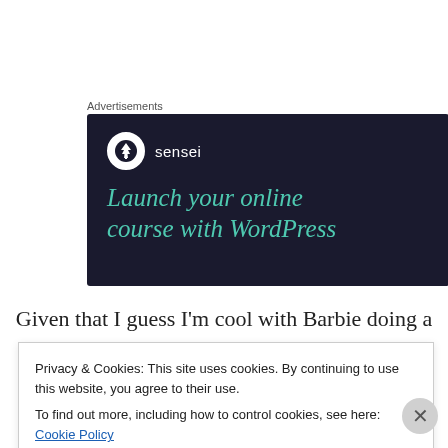Advertisements
[Figure (illustration): Sensei advertisement banner with dark navy background showing the Sensei logo (tree icon in white circle) and text 'Launch your online course with WordPress' in teal/green italic serif font]
Given that I guess I'm cool with Barbie doing a
Privacy & Cookies: This site uses cookies. By continuing to use this website, you agree to their use.
To find out more, including how to control cookies, see here: Cookie Policy
Close and accept